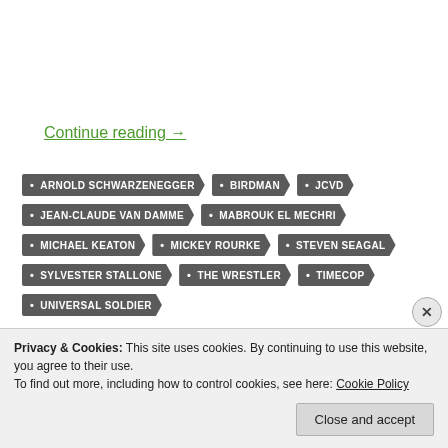Continue reading →
• ARNOLD SCHWARZENEGGER
• BIRDMAN
• JCVD
• JEAN-CLAUDE VAN DAMME
• MABROUK EL MECHRI
• MICHAEL KEATON
• MICKEY ROURKE
• STEVEN SEAGAL
• SYLVESTER STALLONE
• THE WRESTLER
• TIMECOP
• UNIVERSAL SOLDIER
[Figure (photo): Partial image showing a book cover or movie poster with text 'RAYMOND CAREERS' and a partial face photo]
Privacy & Cookies: This site uses cookies. By continuing to use this website, you agree to their use. To find out more, including how to control cookies, see here: Cookie Policy
Close and accept